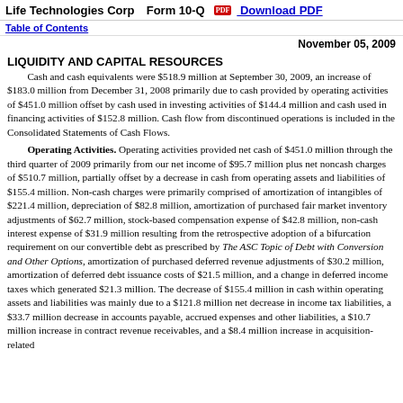Life Technologies Corp   Form 10-Q   Download PDF
Table of Contents
November 05, 2009
LIQUIDITY AND CAPITAL RESOURCES
Cash and cash equivalents were $518.9 million at September 30, 2009, an increase of $183.0 million from December 31, 2008 primarily due to cash provided by operating activities of $451.0 million offset by cash used in investing activities of $144.4 million and cash used in financing activities of $152.8 million. Cash flow from discontinued operations is included in the Consolidated Statements of Cash Flows.
Operating Activities. Operating activities provided net cash of $451.0 million through the third quarter of 2009 primarily from our net income of $95.7 million plus net noncash charges of $510.7 million, partially offset by a decrease in cash from operating assets and liabilities of $155.4 million. Non-cash charges were primarily comprised of amortization of intangibles of $221.4 million, depreciation of $82.8 million, amortization of purchased fair market inventory adjustments of $62.7 million, stock-based compensation expense of $42.8 million, non-cash interest expense of $31.9 million resulting from the retrospective adoption of a bifurcation requirement on our convertible debt as prescribed by The ASC Topic of Debt with Conversion and Other Options, amortization of purchased deferred revenue adjustments of $30.2 million, amortization of deferred debt issuance costs of $21.5 million, and a change in deferred income taxes which generated $21.3 million. The decrease of $155.4 million in cash within operating assets and liabilities was mainly due to a $121.8 million net decrease in income tax liabilities, a $33.7 million decrease in accounts payable, accrued expenses and other liabilities, a $10.7 million increase in contract revenue receivables, and a $8.4 million increase in acquisition-related